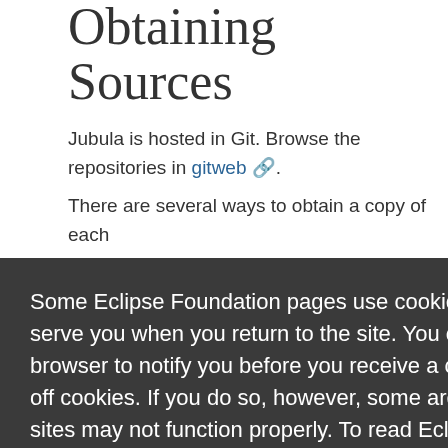Obtaining Sources
Jubula is hosted in Git. Browse the repositories in gitweb.
There are several ways to obtain a copy of each
[Figure (screenshot): Cookie consent overlay with dark background. Text: 'Some Eclipse Foundation pages use cookies to better serve you when you return to the site. You can set your browser to notify you before you receive a cookie or turn off cookies. If you do so, however, some areas of some sites may not function properly. To read Eclipse Foundation Privacy Policy click here.' Two buttons: Decline (white) and Allow cookies (orange).]
jubula/o
http://git.eclipse.org/gitroot/jubula/org.eclip